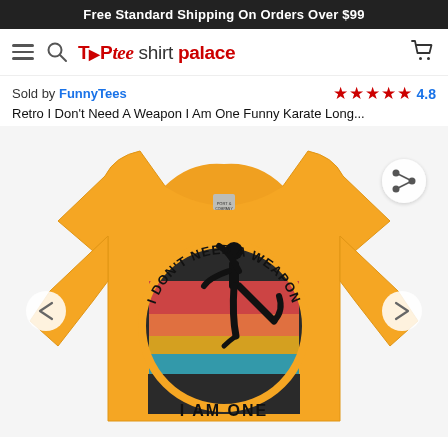Free Standard Shipping On Orders Over $99
[Figure (logo): Tee Shirt Palace navigation bar with hamburger menu, search icon, logo (TEPtee shirt palace), and cart icon]
Sold by FunnyTees  ★★★★★ 4.8
Retro I Don't Need A Weapon I Am One Funny Karate Long...
[Figure (photo): Yellow long-sleeve t-shirt with retro karate graphic showing a silhouette of a karate kicker over a sunset semicircle with stripes in red, orange, yellow, and teal. Text on shirt reads 'I DON'T NEED A WEAPON I AM ONE'. Navigation arrows on left and right. Share button top right.]